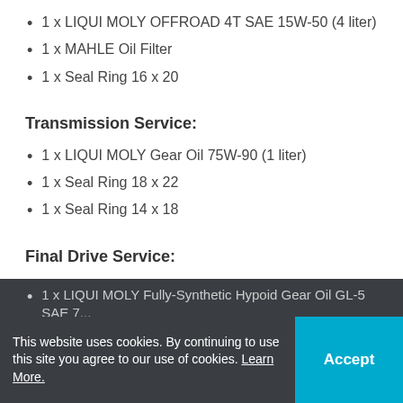1 x LIQUI MOLY OFFROAD 4T SAE 15W-50 (4 liter)
1 x MAHLE Oil Filter
1 x Seal Ring 16 x 20
Transmission Service:
1 x LIQUI MOLY Gear Oil 75W-90 (1 liter)
1 x Seal Ring 18 x 22
1 x Seal Ring 14 x 18
Final Drive Service:
1 x LIQUI MOLY Fully-Synthetic Hypoid Gear Oil GL-5 SAE 7...
... Final Drive Plug O-Ring ...
This website uses cookies. By continuing to use this site you agree to our use of cookies. Learn More.
Accept